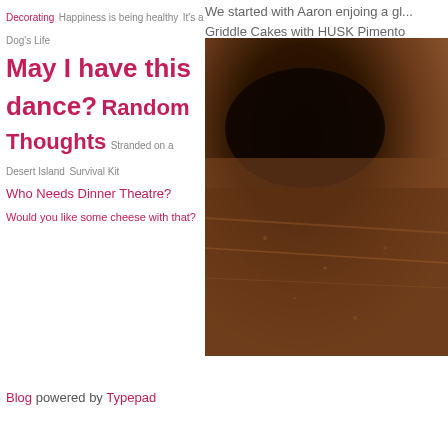Decorating Happiness is being healthy It's a Dog's Life May I have this dance? Random Thoughts Stranded on a Desert Island Survival Kit Who Needs Dinner Theatre? Would you like some cheese with that?
We started with Aaron enjoing a gl... Griddle Cakes with HUSK Pimento
[Figure (photo): Dark close-up photograph of what appears to be a food item on a textured surface, likely a griddle cake or similar food, with dark and brown tones.]
Blog powered by Typepad